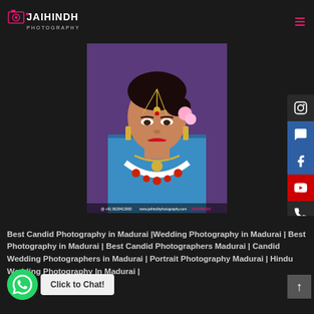[Figure (logo): Jai Hindh Photography logo in pink and white text on dark background]
[Figure (photo): A South Indian bride in traditional wedding attire: blue silk saree, gold jewelry including maang tikka and necklace, white and red flower garland, red lipstick, sindoor bindi, smiling at camera. Background shows another person in purple saree. Watermark: JAIHINDH photography logo and website www.jaihindhphotography.com]
Best Candid Photography in Madurai |Wedding Photography in Madurai | Best Photography in Madurai | Best Candid Photographers Madurai | Candid Wedding Photographers in Madurai | Portrait Photography Madurai | Hindu Wedding Photography In Madurai |